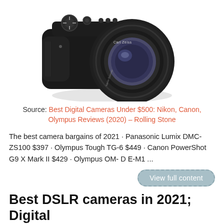[Figure (photo): A black Sony digital bridge camera with Carl Zeiss lens, photographed from the front-left angle on a white background.]
Source: Best Digital Cameras Under $500: Nikon, Canon, Olympus Reviews (2020) – Rolling Stone
The best camera bargains of 2021 · Panasonic Lumix DMC-ZS100 $397 · Olympus Tough TG-6 $449 · Canon PowerShot G9 X Mark II $429 · Olympus OM- D E-M1 ...
View full content
Best DSLR cameras in 2021; Digital